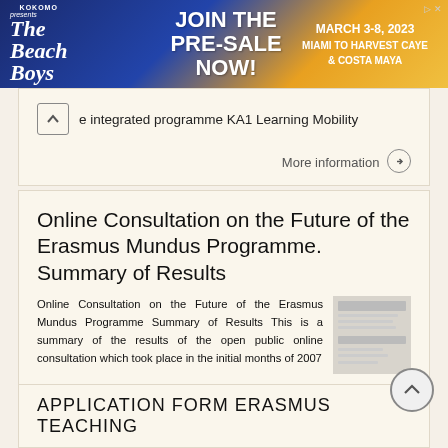[Figure (other): Advertisement banner for The Beach Boys cruise: JOIN THE PRE-SALE NOW! MARCH 3-8, 2023 MIAMI TO HARVEST CAYE & COSTA MAYA, presented by Kokomo]
e integrated programme KA1 Learning Mobility
More information →
Online Consultation on the Future of the Erasmus Mundus Programme. Summary of Results
Online Consultation on the Future of the Erasmus Mundus Programme Summary of Results This is a summary of the results of the open public online consultation which took place in the initial months of 2007
More information →
APPLICATION FORM ERASMUS TEACHING